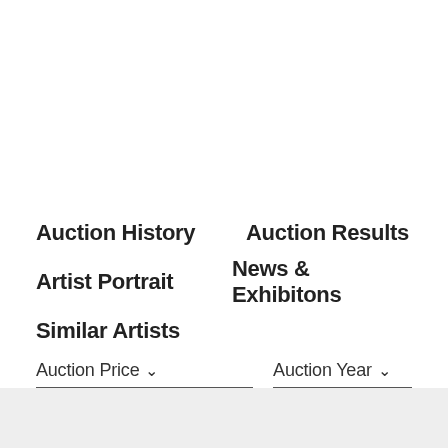Auction History
Auction Results
Artist Portrait
News & Exhibitons
Similar Artists
Auction Price
Auction Year